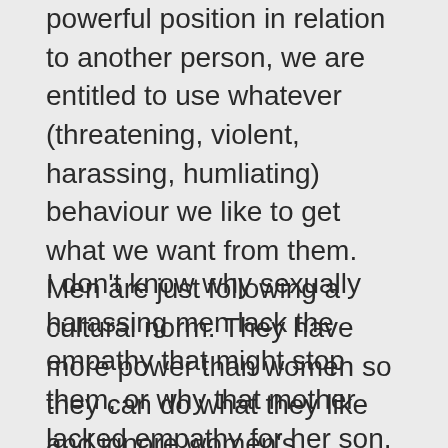powerful position in relation to another person, we are entitled to use whatever (threatening, violent, harassing, humliating) behaviour we like to get what we want from them. Men are just following a cultural norm. They have more power than women so they can do what they like and ignore women's feelings.
I don't know why sexually harassing men lack the empathy that might stop them, or why that mother lacked empathy for her son. I'm pretty sure the choice of action is about power though, and choosing not to be empathic. Otherwise 30